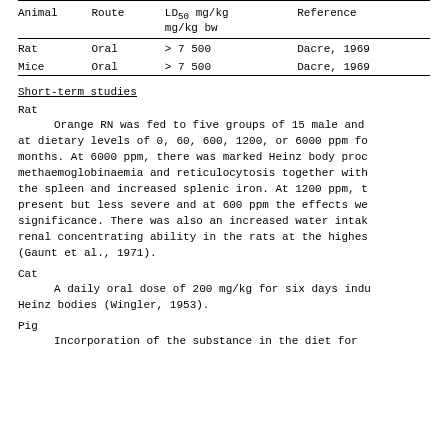| Animal | Route | LD50 mg/kg mg/kg bw | Reference |
| --- | --- | --- | --- |
| Rat | Oral | > 7 500 | Dacre, 1969 |
| Mice | Oral | > 7 500 | Dacre, 1969 |
Short-term studies
Rat
Orange RN was fed to five groups of 15 male and at dietary levels of 0, 60, 600, 1200, or 6000 ppm fo months. At 6000 ppm, there was marked Heinz body proc methaemoglobinaemia and reticulocytosis together with the spleen and increased splenic iron. At 1200 ppm, t present but less severe and at 600 ppm the effects we significance. There was also an increased water intak renal concentrating ability in the rats at the highes (Gaunt et al., 1971).
Cat
A daily oral dose of 200 mg/kg for six days indu Heinz bodies (Wingler, 1953).
Pig
Incorporation of the substance in the diet for